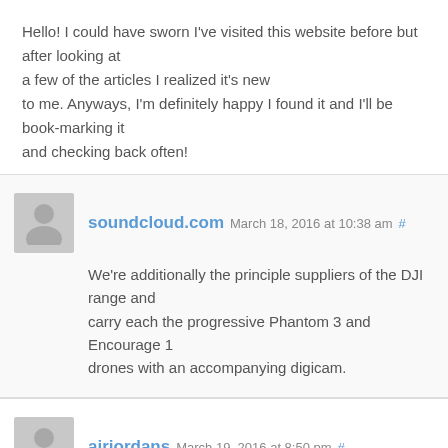Hello! I could have sworn I've visited this website before but after looking at a few of the articles I realized it's new to me. Anyways, I'm definitely happy I found it and I'll be book-marking it and checking back often!
soundcloud.com March 18, 2016 at 10:38 am #
We're additionally the principle suppliers of the DJI range and carry each the progressive Phantom 3 and Encourage 1 drones with an accompanying digicam.
airjordans March 19, 2016 at 8:50 pm #
Jordan's horseshoe Jordan atmosphere Force 1